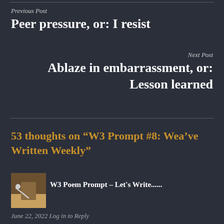Previous Post
Peer pressure, or: I resist
Next Post
Ablaze in embarrassment, or: Lesson learned
53 thoughts on “W3 Prompt #8: Wea’ve Written Weekly”
[Figure (photo): Small thumbnail avatar image showing a hand writing with a pen on paper]
W3 Poem Prompt – Let's Write......
June 22, 2022 Log in to Reply